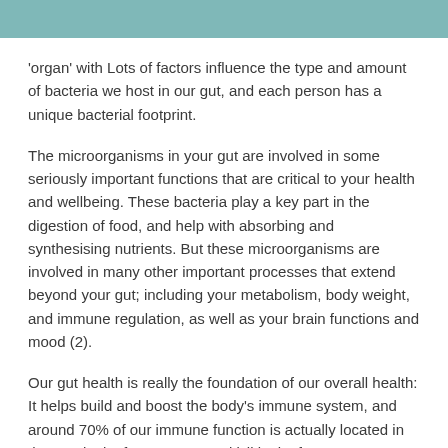'organ' with Lots of factors influence the type and amount of bacteria we host in our gut, and each person has a unique bacterial footprint.
The microorganisms in your gut are involved in some seriously important functions that are critical to your health and wellbeing. These bacteria play a key part in the digestion of food, and help with absorbing and synthesising nutrients. But these microorganisms are involved in many other important processes that extend beyond your gut; including your metabolism, body weight, and immune regulation, as well as your brain functions and mood (2).
Our gut health is really the foundation of our overall health: It helps build and boost the body's immune system, and around 70% of our immune function is actually located in the gut- look after your gut and it'll look after you.
A healthy gut has a barrier that keeps the contents of